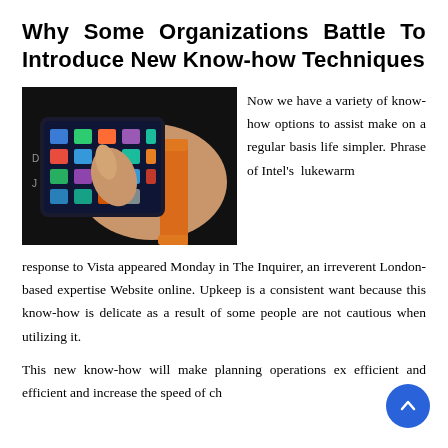Why Some Organizations Battle To Introduce New Know-how Techniques
[Figure (photo): A hand touching a smartphone screen that is wrapped around a wrist like a wristband, with an orange strap, set against a dark background.]
Now we have a variety of know-how options to assist make on a regular basis life simpler. Phrase of Intel's lukewarm response to Vista appeared Monday in The Inquirer, an irreverent London-based expertise Website online. Upkeep is a consistent want because this know-how is delicate as a result of some people are not cautious when utilizing it.
This new know-how will make planning operations ex efficient and efficient and increase the speed of ch